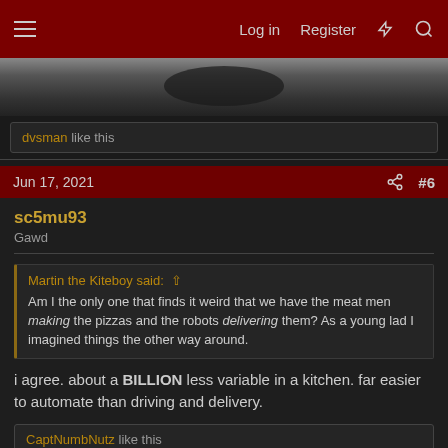Log in  Register  #6
[Figure (photo): Partial view of a vehicle or robot delivery device, dark image]
dvsman like this
Jun 17, 2021  #6
sc5mu93
Gawd
Martin the Kiteboy said: Am I the only one that finds it weird that we have the meat men making the pizzas and the robots delivering them? As a young lad I imagined things the other way around.
i agree. about a BILLION less variable in a kitchen. far easier to automate than driving and delivery.
CaptNumbNutz like this